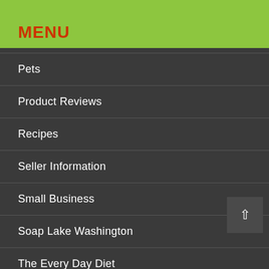MENU
Pets
Product Reviews
Recipes
Seller Information
Small Business
Soap Lake Washington
The Every Day Diet
Uncategorized
Weight Loss and Fitness